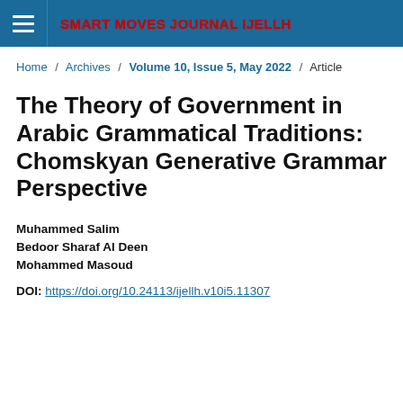SMART MOVES JOURNAL IJELLH
Home / Archives / Volume 10, Issue 5, May 2022 / Article
The Theory of Government in Arabic Grammatical Traditions: Chomskyan Generative Grammar Perspective
Muhammed Salim
Bedoor Sharaf Al Deen
Mohammed Masoud
DOI: https://doi.org/10.24113/ijellh.v10i5.11307